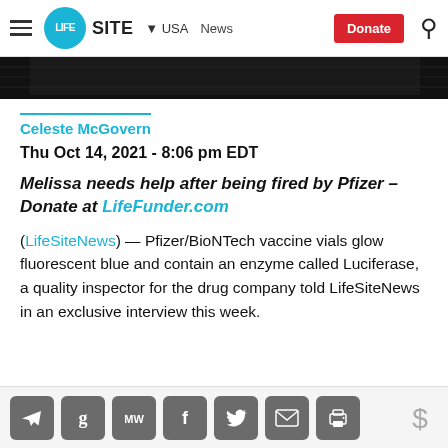LifeSite — USA News — Donate
[Figure (photo): Dark/black background image strip at top of article]
Celeste McGovern
Thu Oct 14, 2021 - 8:06 pm EDT
Melissa needs help after being fired by Pfizer – Donate at LifeFunder.com
(LifeSiteNews) — Pfizer/BioNTech vaccine vials glow fluorescent blue and contain an enzyme called Luciferase, a quality inspector for the drug company told LifeSiteNews in an exclusive interview this week.
Social share icons: Telegram, Gettr, MeWe, Facebook, Twitter, Email, Print, Donate